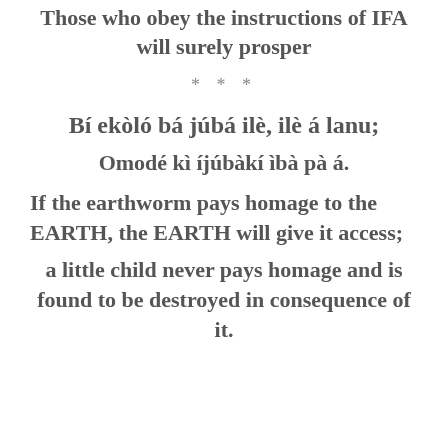Those who obey the instructions of IFA will surely prosper
* * *
Bí ekòló bá júbá ilè, ilè á lanu;
Omodé kì íjúbàkí ìbà pà á.
If the earthworm pays homage to the EARTH, the EARTH will give it access;
a little child never pays homage and is found to be destroyed in consequence of it.